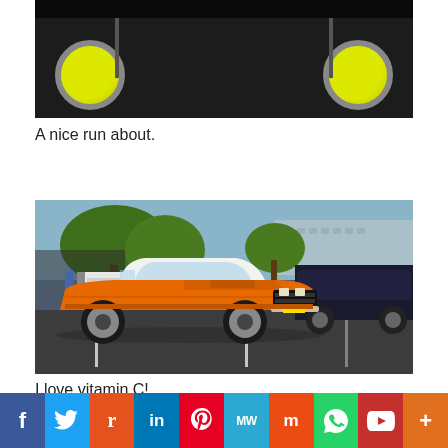[Figure (photo): Close-up of vintage car wheels with yellow-green rims on dark background]
A nice run about.
[Figure (photo): Orange classic Dodge Challenger muscle car parked in a lot surrounded by other cars, trees in background]
I love vitamin C!
[Figure (photo): Partial view of a car show venue with white tent canopy and trees]
f  Twitter  Reddit  in  Pinterest  MW  Meetup  WhatsApp  YouTube  More